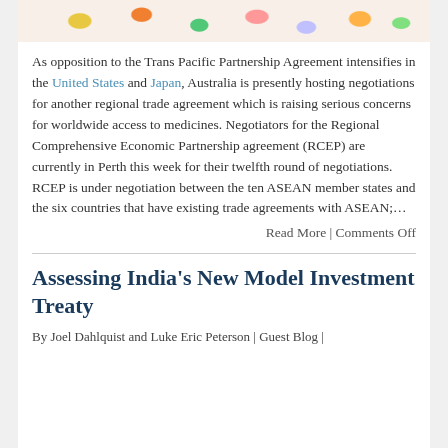[Figure (photo): Colorful pills and capsules scattered together, background image for a pharmaceutical/medicine article]
As opposition to the Trans Pacific Partnership Agreement intensifies in the United States and Japan, Australia is presently hosting negotiations for another regional trade agreement which is raising serious concerns for worldwide access to medicines. Negotiators for the Regional Comprehensive Economic Partnership agreement (RCEP) are currently in Perth this week for their twelfth round of negotiations. RCEP is under negotiation between the ten ASEAN member states and the six countries that have existing trade agreements with ASEAN;…
Read More | Comments Off
Assessing India's New Model Investment Treaty
By Joel Dahlquist and Luke Eric Peterson | Guest Blog |